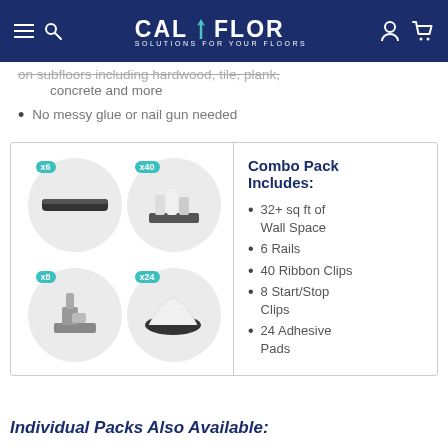CAL FLOR - SOLUTIONS FOR YOUR FLOORS
concrete and more
No messy glue or nail gun needed
[Figure (illustration): Combo pack product image showing 4 circular insets: x6 rails (black rail), x40 ribbon clips (white clips on base), x8 start/stop clips (grey clip device), x24 adhesive pads (black and white pad)]
Combo Pack Includes: 32+ sq ft of Wall Space, 6 Rails, 40 Ribbon Clips, 8 Start/Stop Clips, 24 Adhesive Pads
Individual Packs Also Available: